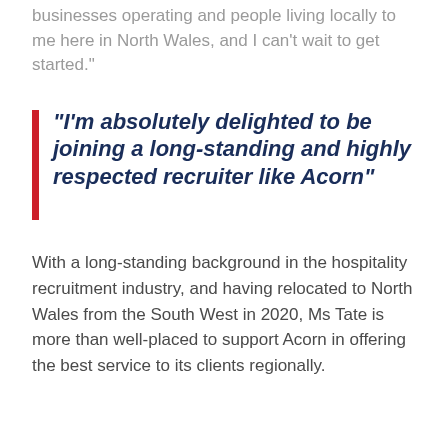businesses operating and people living locally to me here in North Wales, and I can’t wait to get started.”
“I’m absolutely delighted to be joining a long-standing and highly respected recruiter like Acorn”
With a long-standing background in the hospitality recruitment industry, and having relocated to North Wales from the South West in 2020, Ms Tate is more than well-placed to support Acorn in offering the best service to its clients regionally.